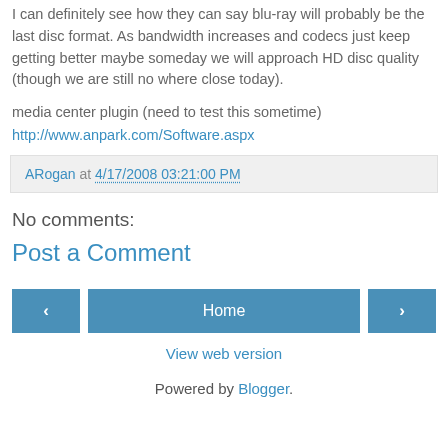I can definitely see how they can say blu-ray will probably be the last disc format. As bandwidth increases and codecs just keep getting better maybe someday we will approach HD disc quality (though we are still no where close today).
media center plugin (need to test this sometime)
http://www.anpark.com/Software.aspx
ARogan at 4/17/2008 03:21:00 PM
No comments:
Post a Comment
‹  Home  ›
View web version
Powered by Blogger.